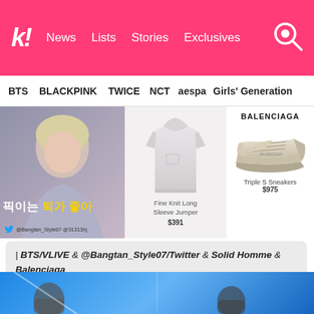k! News Lists Stories Exclusives
BTS BLACKPINK TWICE NCT aespa Girls' Generation
[Figure (photo): K-pop idol in lavender outfit with Korean text overlay reading '픽이는 퇴가 좋아' and Twitter handle @Bangtan_Style07 @31313hj at bottom]
[Figure (photo): Fine Knit Long Sleeve Jumper product photo, white/light grey sweater, priced $391]
[Figure (photo): Balenciaga Triple S Sneakers product photo, beige colorway, priced $975]
| BTS/VLIVE & @Bangtan_Style07/Twitter & Solid Homme & Balenciaga
SOURCE
[Figure (photo): Bottom partial image of K-pop idols on blue background, partially cropped]